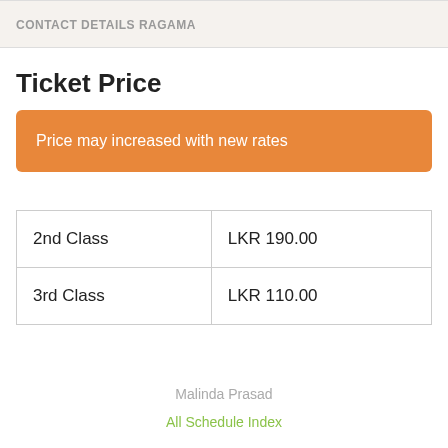CONTACT DETAILS RAGAMA
Ticket Price
Price may increased with new rates
| Class | Price |
| --- | --- |
| 2nd Class | LKR 190.00 |
| 3rd Class | LKR 110.00 |
Malinda Prasad
All Schedule Index